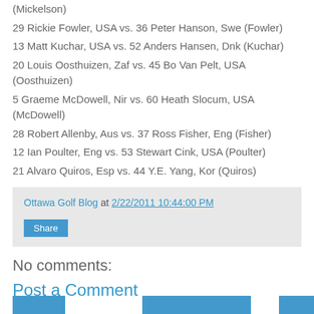(Mickelson)
29 Rickie Fowler, USA vs. 36 Peter Hanson, Swe (Fowler)
13 Matt Kuchar, USA vs. 52 Anders Hansen, Dnk (Kuchar)
20 Louis Oosthuizen, Zaf vs. 45 Bo Van Pelt, USA (Oosthuizen)
5 Graeme McDowell, Nir vs. 60 Heath Slocum, USA (McDowell)
28 Robert Allenby, Aus vs. 37 Ross Fisher, Eng (Fisher)
12 Ian Poulter, Eng vs. 53 Stewart Cink, USA (Poulter)
21 Alvaro Quiros, Esp vs. 44 Y.E. Yang, Kor (Quiros)
Ottawa Golf Blog at 2/22/2011 10:44:00 PM
No comments:
Post a Comment